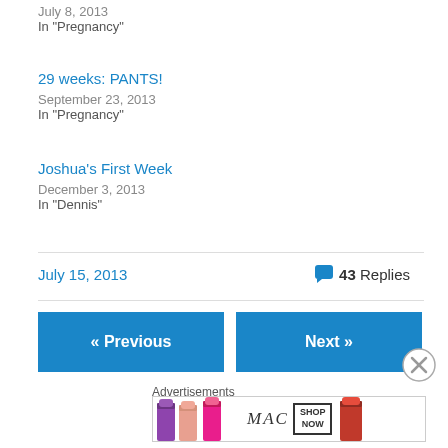July 8, 2013
In "Pregnancy"
29 weeks: PANTS!
September 23, 2013
In "Pregnancy"
Joshua's First Week
December 3, 2013
In "Dennis"
July 15, 2013   43 Replies
« Previous
Next »
Advertisements
[Figure (photo): MAC Cosmetics advertisement with lipsticks and SHOP NOW button]